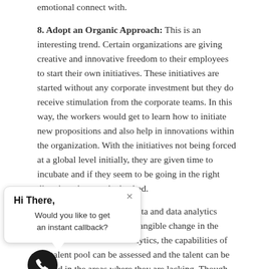emotional connect with.
8. Adopt an Organic Approach: This is an interesting trend. Certain organizations are giving creative and innovative freedom to their employees to start their own initiatives. These initiatives are started without any corporate investment but they do receive stimulation from the corporate teams. In this way, the workers would get to learn how to initiate new propositions and also help in innovations within the organization. With the initiatives not being forced at a global level initially, they are given time to incubate and if they seem to be going in the right direction, they can be backed.
9. [partially obscured]: With big data and data analytics storm, talent analytics is a tangible change in the workforce. With talent analytics, the capabilities of the talent pool can be assessed and the talent can be guided in the areas where they are lacking. Though not yet utilized by many